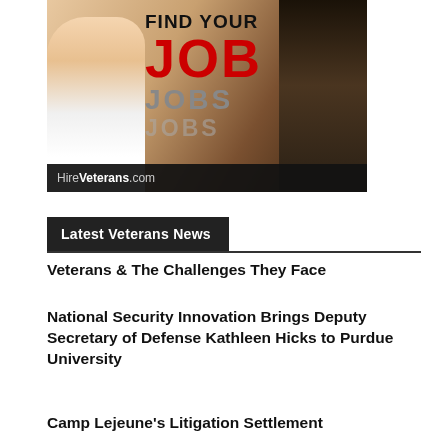[Figure (infographic): HireVeterans.com job advertisement banner showing a smiling woman, a military soldier, with text 'FIND YOUR JOB JOBS JOBS' in bold black and red, with HireVeterans.com branding at the bottom.]
Latest Veterans News
Veterans & The Challenges They Face
National Security Innovation Brings Deputy Secretary of Defense Kathleen Hicks to Purdue University
Camp Lejeune's Litigation Settlement